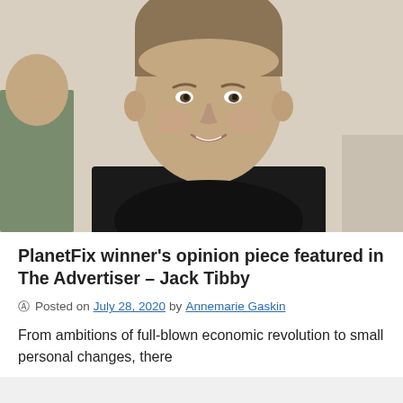[Figure (photo): Portrait photo of a young man with short hair wearing a black t-shirt, smiling, against a light beige wall background. Another person in a green shirt is partially visible on the left edge.]
PlanetFix winner's opinion piece featured in The Advertiser – Jack Tibby
© Posted on July 28, 2020 by Annemarie Gaskin
From ambitions of full-blown economic revolution to small personal changes, there